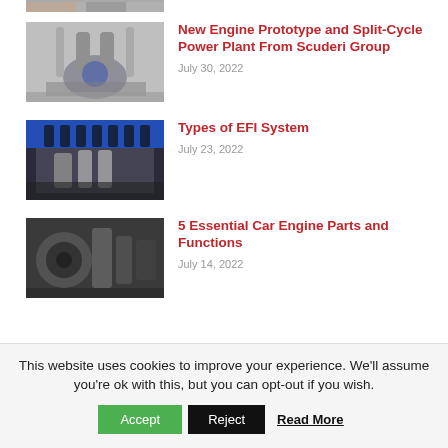[Figure (photo): Partial view of engine/mechanical component, cropped at top]
[Figure (photo): Split-cycle engine prototype machinery]
New Engine Prototype and Split-Cycle Power Plant From Scuderi Group
July 30, 2022
[Figure (photo): Blue engine with EFI system components]
Types of EFI System
July 23, 2022
[Figure (photo): Car engine parts close-up]
5 Essential Car Engine Parts and Functions
July 14, 2022
This website uses cookies to improve your experience. We'll assume you're ok with this, but you can opt-out if you wish.